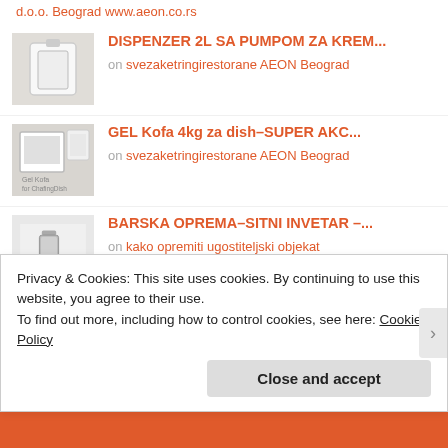d.o.o. Beograd www.aeon.co.rs
DISPENZER 2L SA PUMPOM ZA KREM… on svezaketringirestorane AEON Beograd
GEL Kofa 4kg za dish–SUPER AKC… on svezaketringirestorane AEON Beograd
BARSKA OPREMA–SITNI INVETAR –… on kako opremiti ugostiteljski objekat AEON DOO Beograd
BARSKA OPREMA–SITNI INVETAR –…
Privacy & Cookies: This site uses cookies. By continuing to use this website, you agree to their use.
To find out more, including how to control cookies, see here: Cookie Policy
Close and accept